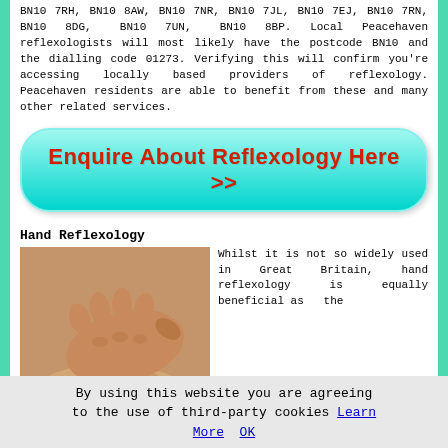BN10 7RH, BN10 8AW, BN10 7NR, BN10 7JL, BN10 7EJ, BN10 7RN, BN10 8DG, BN10 7UN, BN10 8BP. Local Peacehaven reflexologists will most likely have the postcode BN10 and the dialling code 01273. Verifying this will confirm you're accessing locally based providers of reflexology. Peacehaven residents are able to benefit from these and many other related services.
[Figure (other): Cyan/teal gradient rounded button with red bold text reading 'Enquire About Reflexology Here >>']
Hand Reflexology
[Figure (photo): Close-up photo of hand reflexology: one person's hands pressing on another person's hand/wrist area, on a light surface.]
Whilst it is not so widely used in Great Britain, hand reflexology is equally beneficial as the
By using this website you are agreeing to the use of third-party cookies Learn More OK